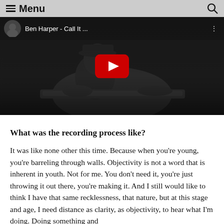Menu
[Figure (screenshot): YouTube video thumbnail showing Ben Harper - Call It ... with a musician playing a lap steel guitar in black and white, red YouTube play button in center]
What was the recording process like?
It was like none other this time. Because when you're young, you're barreling through walls. Objectivity is not a word that is inherent in youth. Not for me. You don't need it, you're just throwing it out there, you're making it. And I still would like to think I have that same recklessness, that nature, but at this stage and age, I need distance as clarity, as objectivity, to hear what I'm doing. Doing something and